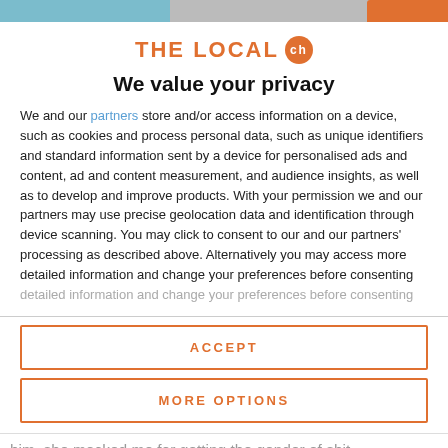[Figure (logo): The Local ch logo with orange text and orange circle with 'ch' inside]
We value your privacy
We and our partners store and/or access information on a device, such as cookies and process personal data, such as unique identifiers and standard information sent by a device for personalised ads and content, ad and content measurement, and audience insights, as well as to develop and improve products. With your permission we and our partners may use precise geolocation data and identification through device scanning. You may click to consent to our and our partners' processing as described above. Alternatively you may access more detailed information and change your preferences before consenting
ACCEPT
MORE OPTIONS
him, she mocked me for getting the gender of shit